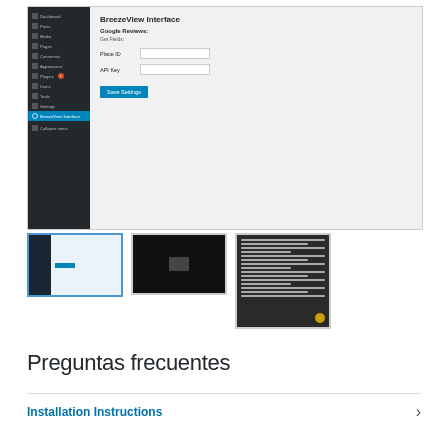[Figure (screenshot): WordPress admin interface showing BreezeView Interface plugin settings page with Google Reviews section, Place ID and API Key fields, and a Save Settings button. Left sidebar shows standard WP menu items with BreezeView Interface highlighted.]
[Figure (screenshot): Three thumbnail screenshots: first shows the BreezeView WordPress admin settings page (blue border), second shows a dark webpage with an image, third shows a text-heavy webpage with golden circle button.]
Preguntas frecuentes
Installation Instructions